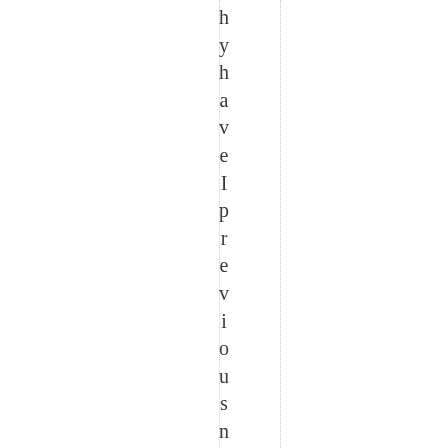h y h a v e I p r e v i o u s n o t h e a r d o f it w h e n